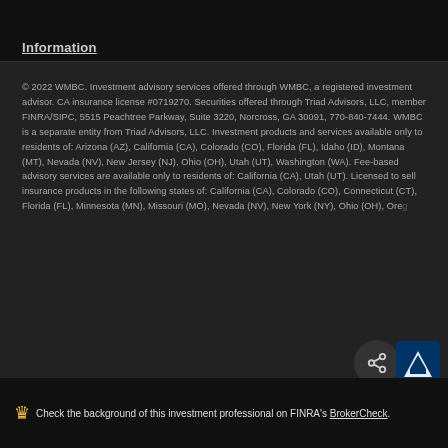Information
© 2022 WMBC. Investment advisory services offered through WMBC, a registered investment advisor. CA insurance license #0719270. Securities offered through Triad Advisors, LLC, member FINRA/SIPC, 5515 Peachtree Parkway, Suite 3220, Norcross, GA 30091, 770-840-7444. WMBC is a separate entity from Triad Advisors, LLC. Investment products and services available only to residents of: Arizona (AZ), California (CA), Colorado (CO), Florida (FL), Idaho (ID), Montana (MT), Nevada (NV), New Jersey (NJ), Ohio (OH), Utah (UT), Washington (WA). Fee-based advisory services are available only to residents of: California (CA), Utah (UT). Licensed to sell insurance products in the following states of: California (CA), Colorado (CO), Connecticut (CT), Florida (FL), Minnesota (MN), Missouri (MO), Nevada (NV), New York (NY), Ohio (OH), Oregon (OR), Texas (TX), Utah (UT), Washington (WA). View our Fo...
Check the background of this investment professional on FINRA's BrokerCheck.